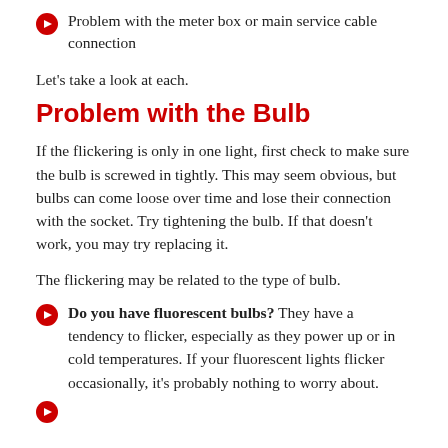Problem with the meter box or main service cable connection
Let's take a look at each.
Problem with the Bulb
If the flickering is only in one light, first check to make sure the bulb is screwed in tightly. This may seem obvious, but bulbs can come loose over time and lose their connection with the socket. Try tightening the bulb. If that doesn't work, you may try replacing it.
The flickering may be related to the type of bulb.
Do you have fluorescent bulbs? They have a tendency to flicker, especially as they power up or in cold temperatures. If your fluorescent lights flicker occasionally, it's probably nothing to worry about.
(partial — cut off at bottom)